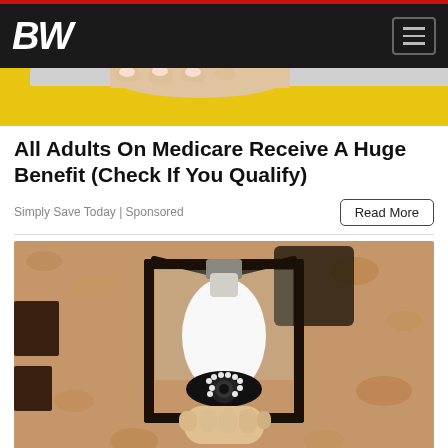BW
[Figure (photo): Partial top image showing a hand and yellow background, cropped at top]
All Adults On Medicare Receive A Huge Benefit (Check If You Qualify)
Simply Save Today | Sponsored
[Figure (photo): Outdoor wall-mounted black lantern with a smart security camera light bulb screwed in, held by a hand, against a stucco wall]